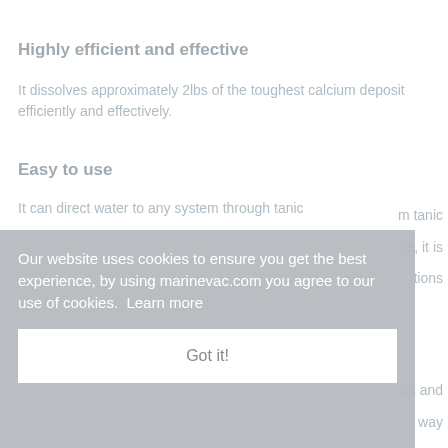Highly efficient and effective
It dissolves approximately 2lbs of the toughest calcium deposit efficiently and effectively.
Easy to use
It can direct water to any system through tanic ... it is ... tions ... ns and ... way
Our website uses cookies to ensure you get the best experience, by using marinevac.com you agree to our use of cookies. Learn more
Got it!